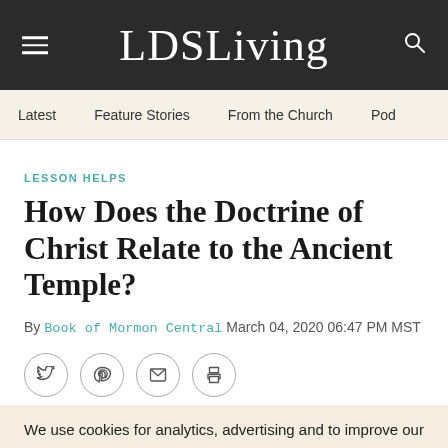LDSLiving
Latest   Feature Stories   From the Church   Pod
LESSON HELPS
How Does the Doctrine of Christ Relate to the Ancient Temple?
By Book of Mormon Central  March 04, 2020  06:47 PM MST
[Figure (other): Social share icons: Twitter, Pinterest, Email, Print]
We use cookies for analytics, advertising and to improve our